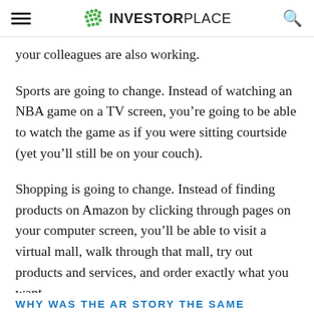INVESTORPLACE
your colleagues are also working.
Sports are going to change. Instead of watching an NBA game on a TV screen, you're going to be able to watch the game as if you were sitting courtside (yet you'll still be on your couch).
Shopping is going to change. Instead of finding products on Amazon by clicking through pages on your computer screen, you'll be able to visit a virtual mall, walk through that mall, try out products and services, and order exactly what you want.
WHY WAS THE AR STORY THE SAME